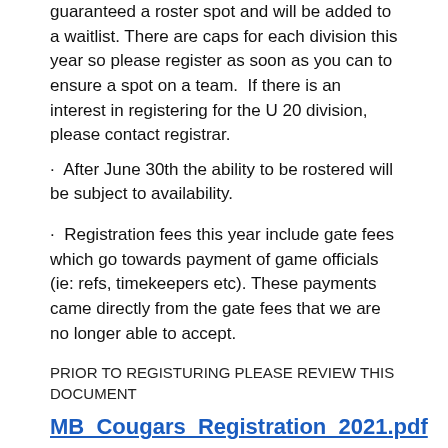guaranteed a roster spot and will be added to a waitlist. There are caps for each division this year so please register as soon as you can to ensure a spot on a team.  If there is an interest in registering for the U 20 division, please contact registrar.
After June 30th the ability to be rostered will be subject to availability.
Registration fees this year include gate fees which go towards payment of game officials (ie: refs, timekeepers etc). These payments came directly from the gate fees that we are no longer able to accept.
PRIOR TO REGISTURING PLEASE REVIEW THIS DOCUMENT
MB_Cougars_Registration_2021.pdf
REGISTRATION LINK
TRYOUT FEES (Competitive Teams Only):